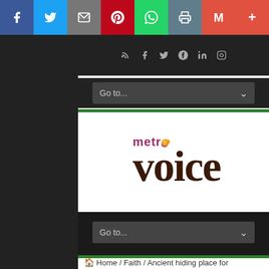[Figure (screenshot): Social share bar with icons: Facebook, Twitter, Email, Pinterest, WhatsApp, Print, Gmail, More]
[Figure (logo): Metro Voice logo with 'metro' in pink/maroon and 'voice' in large dark serif font]
[Figure (screenshot): Navigation dropdown selectors (Go to...) with dark background]
Home / Faith / Ancient hiding place for Christians found in Syria
[Figure (screenshot): Bottom banner ad for Free Subscription to Metro Voice Newsletter with Sign Up button]